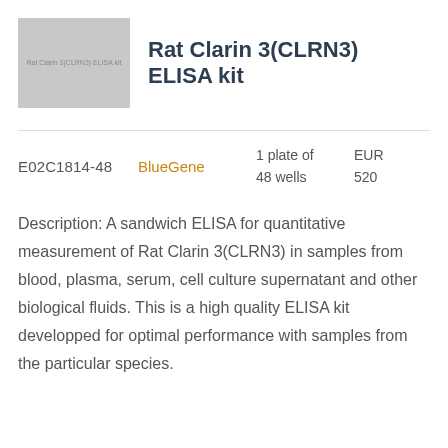[Figure (photo): Product image placeholder showing a kit box with text 'Rat Clarin 3(CLRN3) ELISA kit' on a grey background]
Rat Clarin 3(CLRN3) ELISA kit
E02C1814-48    BlueGene    1 plate of    EUR
                              48 wells      520
Description: A sandwich ELISA for quantitative measurement of Rat Clarin 3(CLRN3) in samples from blood, plasma, serum, cell culture supernatant and other biological fluids. This is a high quality ELISA kit developped for optimal performance with samples from the particular species.